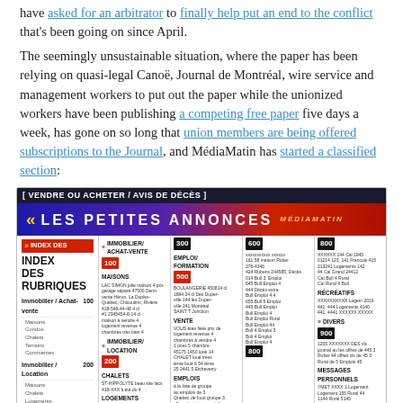have asked for an arbitrator to finally help put an end to the conflict that's been going on since April.
The seemingly unsustainable situation, where the paper has been relying on quasi-legal Canoë, Journal de Montréal, wire service and management workers to put out the paper while the unionized workers have been publishing a competing free paper five days a week, has gone on so long that union members are being offered subscriptions to the Journal, and MédiaMatin has started a classified section:
[Figure (photo): Newspaper classified section image from MédiaMatin/Journal showing 'Les Petites Annonces' classified ads section with header 'VENDRE OU ACHETER / AVIS DE DÉCÈS', index of categories including Immobilier, Emploi/Formation, and various ad columns with listings.]